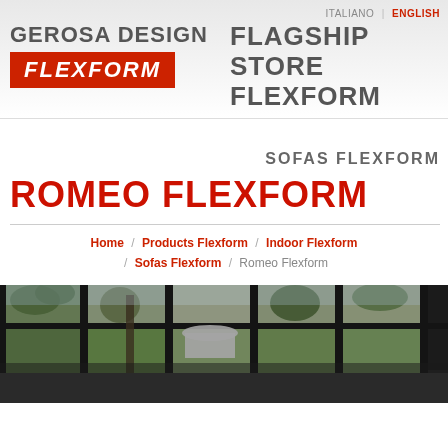ITALIANO | ENGLISH
GEROSA DESIGN
[Figure (logo): FLEXFORM logo in white text on red background]
FLAGSHIP STORE FLEXFORM
SOFAS FLEXFORM
ROMEO FLEXFORM
Home / Products Flexform / Indoor Flexform / Sofas Flexform / Romeo Flexform
[Figure (photo): Interior photo showing a modern room with large floor-to-ceiling black-framed windows overlooking a garden with trees and plants. White furniture visible inside.]